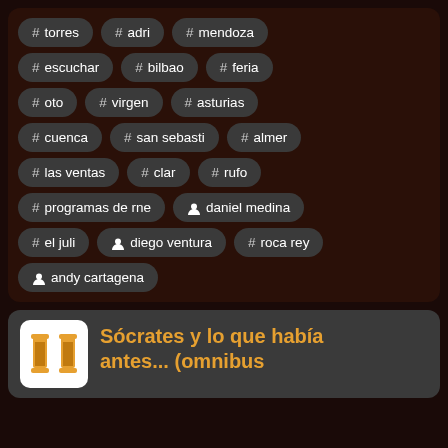# torres
# adri
# mendoza
# escuchar
# bilbao
# feria
# oto
# virgen
# asturias
# cuenca
# san sebasti
# almer
# las ventas
# clar
# rufo
# programas de rne
person daniel medina
# el juli
person diego ventura
# roca rey
person andy cartagena
Sócrates y lo que había antes... (omnibus